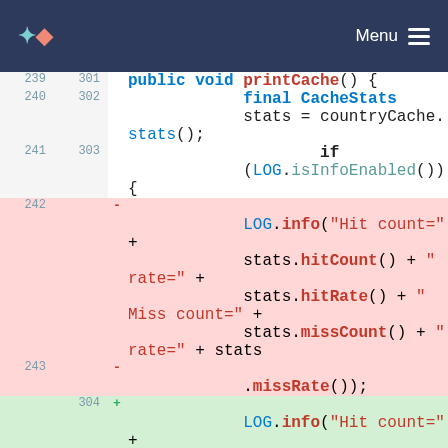Menu
[Figure (screenshot): Code diff view showing Java method printCache() with lines 239-245 (old) and 301-306 (new). Deleted lines 242-243 show a LOG.info call split across lines. Added line 304 shows the same LOG.info call reformatted. Normal lines show public void printCache(), final CacheStats stats = countryCache.stats(), if (LOG.isInfoEnabled()), closing braces.]